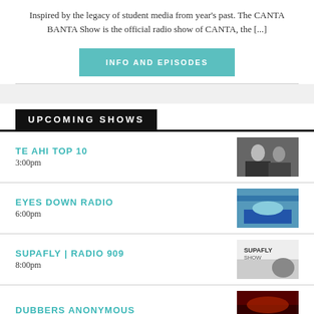Inspired by the legacy of student media from year's past. The CANTA BANTA Show is the official radio show of CANTA, the [...]
INFO AND EPISODES
UPCOMING SHOWS
TE AHI TOP 10
3:00pm
[Figure (photo): Two people standing together, black and white photo]
EYES DOWN RADIO
6:00pm
[Figure (photo): Outdoor event with people at a table]
SUPAFLY | RADIO 909
8:00pm
[Figure (photo): Supafly show logo with person]
DUBBERS ANONYMOUS
[Figure (photo): Dark red/orange stage lighting photo]